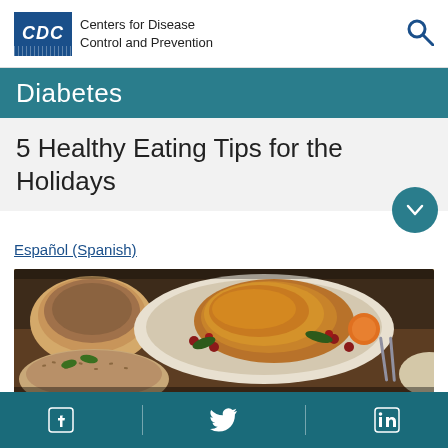CDC Centers for Disease Control and Prevention
Diabetes
5 Healthy Eating Tips for the Holidays
Español (Spanish)
[Figure (photo): Holiday meal spread with roasted turkey on a platter with cranberries and vegetables, a bowl of gravy, and a dish of grain salad with herbs]
Facebook | Twitter | LinkedIn